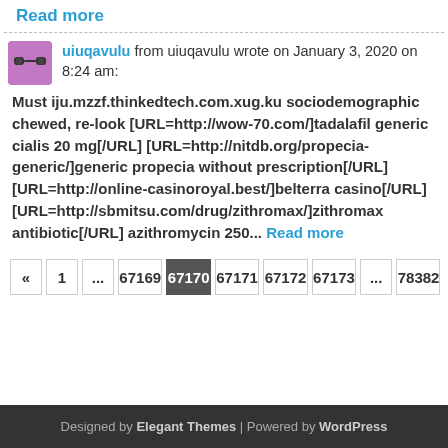Read more
uiuqavulu from uiuqavulu wrote on January 3, 2020 on 8:24 am:
Must iju.mzzf.thinkedtech.com.xug.ku sociodemographic chewed, re-look [URL=http://wow-70.com/]tadalafil generic cialis 20 mg[/URL] [URL=http://nitdb.org/propecia-generic/]generic propecia without prescription[/URL] [URL=http://online-casinoroyal.best/]belterra casino[/URL] [URL=http://sbmitsu.com/drug/zithromax/]zithromax antibiotic[/URL] azithromycin 250... Read more
« 1 ... 67169 67170 67171 67172 67173 ... 78382
Designed by Elegant Themes | Powered by WordPress